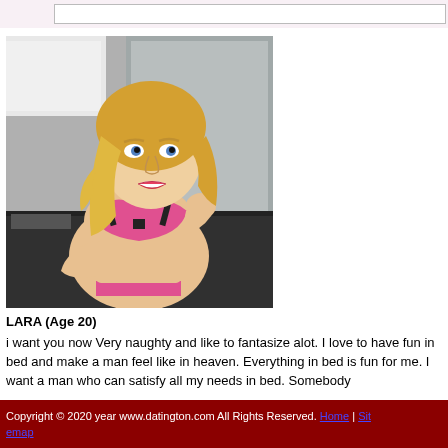[Figure (photo): Profile photo of a young blonde woman in a kitchen setting, wearing a pink and black bra top]
LARA (Age 20)
i want you now Very naughty and like to fantasize alot. I love to have fun in bed and make a man feel like in heaven. Everything in bed is fun for me. I want a man who can satisfy all my needs in bed. Somebody who can...
Copyright © 2020 year www.datington.com All Rights Reserved. Home | Sitemap